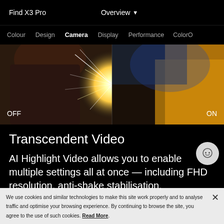Find X3 Pro   Overview
Colour   Design   Camera   Display   Performance   ColorOS
[Figure (photo): Split comparison photo of sparkler/welding scene: left side labeled OFF (darker, more overexposed highlights), right side labeled ON (warmer tones, more detail in highlights). Text overlays: OFF on left, ON on right.]
Transcendent Video
AI Highlight Video allows you to enable multiple settings all at once — including FHD resolution, anti-shake stabilisation, bit for smoother colour transitions.
We use cookies and similar technologies to make this site work properly and to analyse traffic and optimise your browsing experience. By continuing to browse the site, you agree to the use of such cookies. Read More.